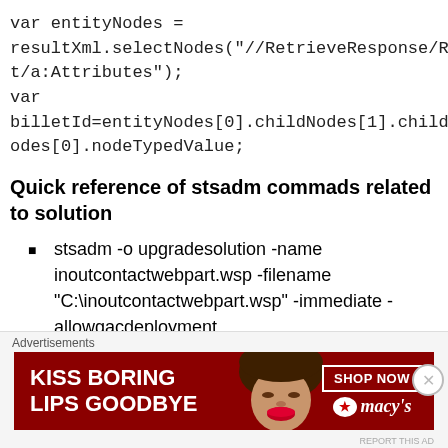var entityNodes = resultXml.selectNodes("//RetrieveResponse/RetrieveResult/a:Attributes"); var billetId=entityNodes[0].childNodes[1].childNodes[1].childNodes[0].nodeTypedValue;
Quick reference of stsadm commads related to solution
stsadm -o upgradesolution -name inoutcontactwebpart.wsp -filename “C:\inoutcontactwebpart.wsp” -immediate -allowgacdeployment
[Figure (other): Macy's advertisement banner: 'KISS BORING LIPS GOODBYE' with SHOP NOW button and Macy's logo, red background with woman's face]